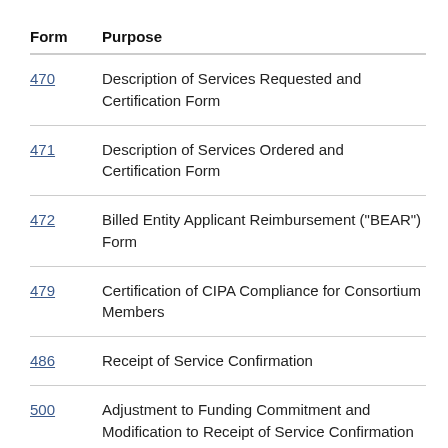| Form | Purpose |
| --- | --- |
| 470 | Description of Services Requested and Certification Form |
| 471 | Description of Services Ordered and Certification Form |
| 472 | Billed Entity Applicant Reimbursement ("BEAR") Form |
| 479 | Certification of CIPA Compliance for Consortium Members |
| 486 | Receipt of Service Confirmation |
| 500 | Adjustment to Funding Commitment and Modification to Receipt of Service Confirmation |